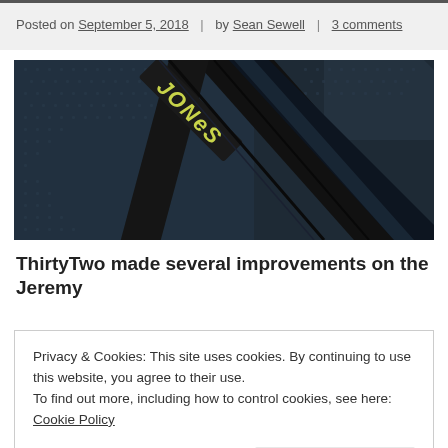Posted on September 5, 2018 | by Sean Sewell | 3 comments
[Figure (photo): Close-up photo of a dark navy blue textured fabric with a Jones brand label/tag showing the JONES logo in yellow text on a black strap]
ThirtyTwo made several improvements on the Jeremy
Privacy & Cookies: This site uses cookies. By continuing to use this website, you agree to their use.
To find out more, including how to control cookies, see here: Cookie Policy
Close and accept
slimmer (so it won't catch